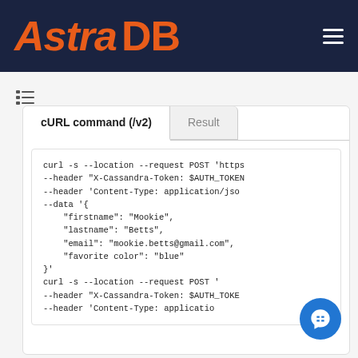[Figure (logo): Astra DB logo with orange italic text on dark navy background, with hamburger menu icon top right]
[Figure (screenshot): Tab panel showing 'cURL command (/v2)' active tab and 'Result' inactive tab, with a code block containing curl commands with JSON body including firstname Mookie, lastname Betts, email mookie.betts@gmail.com, favorite color blue]
curl -s --location --request POST 'https...
--header "X-Cassandra-Token: $AUTH_TOKEN"
--header 'Content-Type: application/json
--data '{
    "firstname": "Mookie",
    "lastname": "Betts",
    "email": "mookie.betts@gmail.com",
    "favorite color": "blue"
}'
curl -s --location --request POST '
--header "X-Cassandra-Token: $AUTH_TOKEN"
--header 'Content-Type: applicati